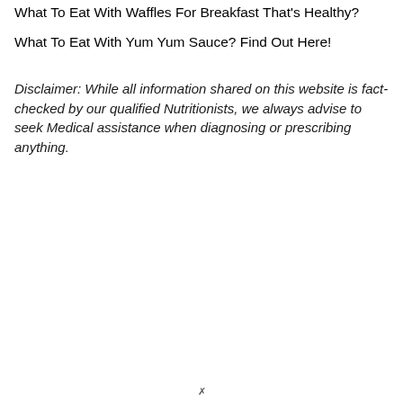What To Eat With Waffles For Breakfast That's Healthy?
What To Eat With Yum Yum Sauce? Find Out Here!
Disclaimer: While all information shared on this website is fact-checked by our qualified Nutritionists, we always advise to seek Medical assistance when diagnosing or prescribing anything.
✗